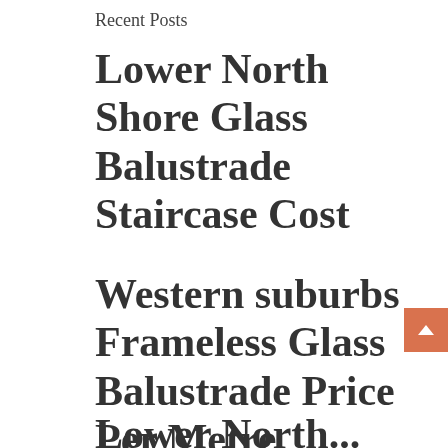Recent Posts
Lower North Shore Glass Balustrade Staircase Cost
Western suburbs Frameless Glass Balustrade Price Per Metre
Lower North...